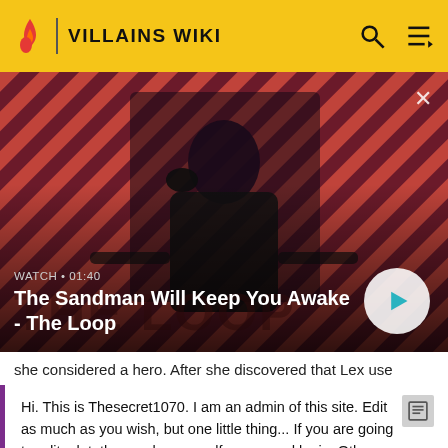VILLAINS WIKI
[Figure (screenshot): Video thumbnail showing a dark-cloaked figure with a raven on their shoulder against a red and dark striped background. Text overlay reads WATCH · 01:40 and The Sandman Will Keep You Awake - The Loop with a play button.]
she considered a hero. After she discovered that Lex use
Hi. This is Thesecret1070. I am an admin of this site. Edit as much as you wish, but one little thing... If you are going to edit a lot, then make yourself a user and login. Other than that, enjoy Villains Wiki!!!